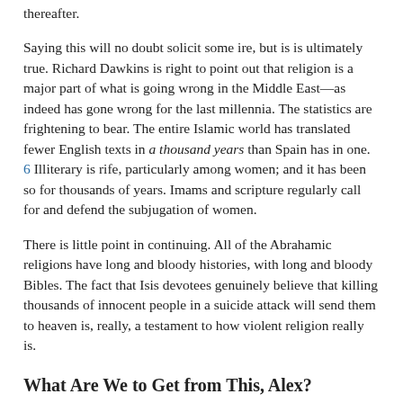thereafter.
Saying this will no doubt solicit some ire, but is is ultimately true. Richard Dawkins is right to point out that religion is a major part of what is going wrong in the Middle East—as indeed has gone wrong for the last millennia. The statistics are frightening to bear. The entire Islamic world has translated fewer English texts in a thousand years than Spain has in one. 6 Illiterary is rife, particularly among women; and it has been so for thousands of years. Imams and scripture regularly call for and defend the subjugation of women.
There is little point in continuing. All of the Abrahamic religions have long and bloody histories, with long and bloody Bibles. The fact that Isis devotees genuinely believe that killing thousands of innocent people in a suicide attack will send them to heaven is, really, a testament to how violent religion really is.
What Are We to Get from This, Alex?
Dealing with Isis is a complicated matter. Sending in the